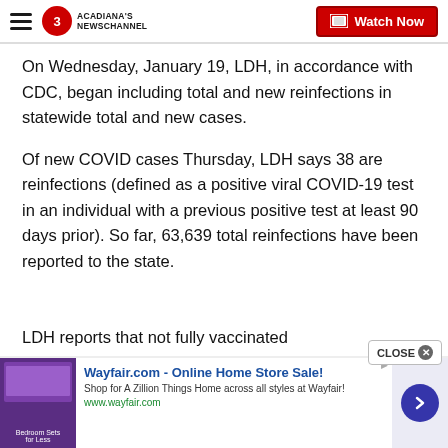Acadiana's Newschannel | Watch Now
On Wednesday, January 19, LDH, in accordance with CDC, began including total and new reinfections in statewide total and new cases.
Of new COVID cases Thursday, LDH says 38 are reinfections (defined as a positive viral COVID-19 test in an individual with a previous positive test at least 90 days prior). So far, 63,639 total reinfections have been reported to the state.
LDH reports that not fully vaccinated Louisianans...
[Figure (screenshot): Wayfair.com advertisement banner: 'Wayfair.com - Online Home Store Sale! Shop for A Zillion Things Home across all styles at Wayfair! www.wayfair.com' with bedroom furniture image and navigation arrow.]